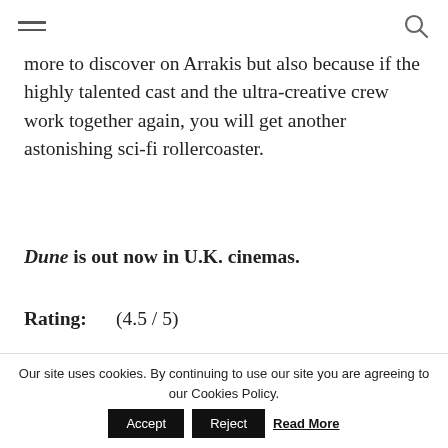[hamburger menu icon] [search icon]
more to discover on Arrakis but also because if the highly talented cast and the ultra-creative crew work together again, you will get another astonishing sci-fi rollercoaster.
Dune is out now in U.K. cinemas.
Rating:      (4.5 / 5)
[Figure (other): Gray placeholder box]
Our site uses cookies. By continuing to use our site you are agreeing to our Cookies Policy. Accept Reject Read More